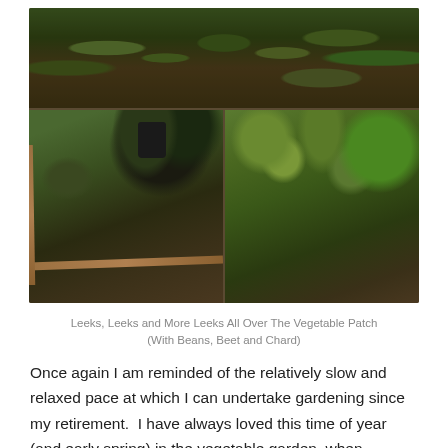[Figure (photo): Collage of four garden photos showing vegetable patch with dark soil, raised beds with wooden borders, a black compost bin, small seedlings (leeks), and established green plants including herbs.]
Leeks, Leeks and More Leeks All Over The Vegetable Patch (With Beans, Beet and Chard)
Once again I am reminded of the relatively slow and relaxed pace at which I can undertake gardening since my retirement.  I have always loved this time of year (and early spring) in the vegetable garden, when